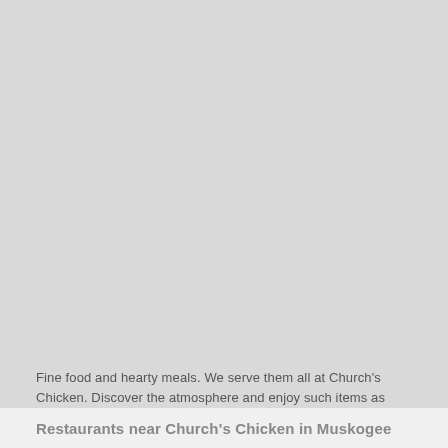[Figure (other): Large light gray placeholder image area occupying the upper portion of the page]
Fine food and hearty meals. We serve them all at Church's Chicken. Discover the atmosphere and enjoy such items as chicken in Muskogee. Featuring american food and a pleasant atmosphere we know you'll want to come back. Call us at (918) 683-3981 and we'll be waiting.
Restaurants near Church's Chicken in Muskogee